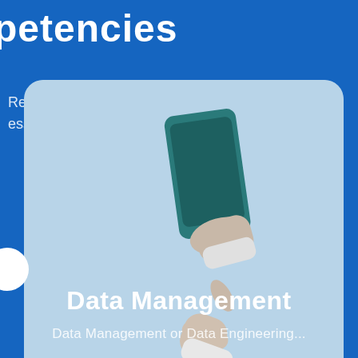petencies
Receiving Higher Quality
Less Than Half The Time Of Other
[Figure (illustration): A 3D rendered illustration of two hands holding and tapping a teal/dark green smartphone, against a light blue background, shown inside a rounded rectangle card]
Data Management
Data Management or Data Engineering...